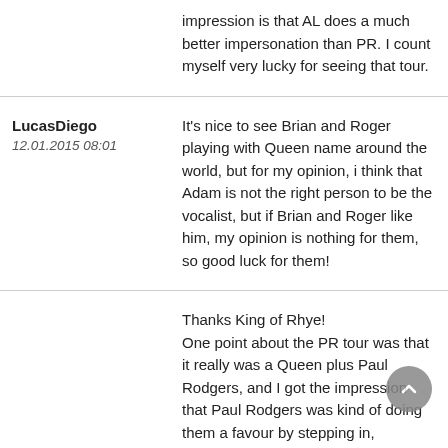impression is that AL does a much better impersonation than PR. I count myself very lucky for seeing that tour.
LucasDiego
12.01.2015 08:01

It's nice to see Brian and Roger playing with Queen name around the world, but for my opinion, i think that Adam is not the right person to be the vocalist, but if Brian and Roger like him, my opinion is nothing for them, so good luck for them!
Thanks King of Rhye!
One point about the PR tour was that it really was a Queen plus Paul Rodgers, and I got the impression that Paul Rodgers was kind of doing them a favour by stepping in, although I guess it wasn't really quite like that. The set list though, was mainly Queen with some PR/Free/Bad Company things thrown in, almost paying lip service to the fact that